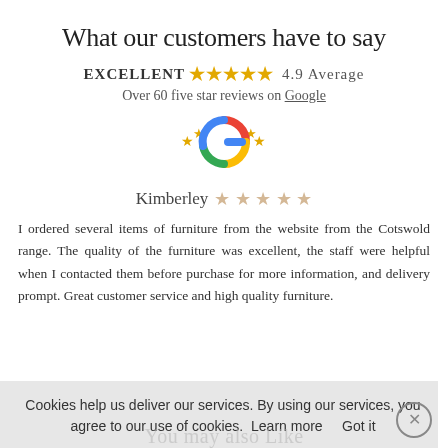What our customers have to say
EXCELLENT ★★★★★ 4.9 Average
Over 60 five star reviews on Google
[Figure (logo): Google logo with gold stars around it]
Kimberley ★★★★★
I ordered several items of furniture from the website from the Cotswold range. The quality of the furniture was excellent, the staff were helpful when I contacted them before purchase for more information, and delivery prompt. Great customer service and high quality furniture.
Cookies help us deliver our services. By using our services, you agree to our use of cookies. Learn more   Got it
You may also Like